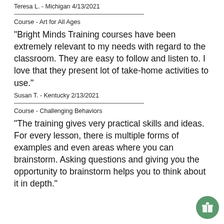Teresa L. - Michigan 4/13/2021
Course - Art for All Ages
"Bright Minds Training courses have been extremely relevant to my needs with regard to the classroom. They are easy to follow and listen to. I love that they present lot of take-home activities to use."
Susan T. - Kentucky 2/13/2021
Course - Challenging Behaviors
"The training gives very practical skills and ideas. For every lesson, there is multiple forms of examples and even areas where you can brainstorm. Asking questions and giving you the opportunity to brainstorm helps you to think about it in depth."